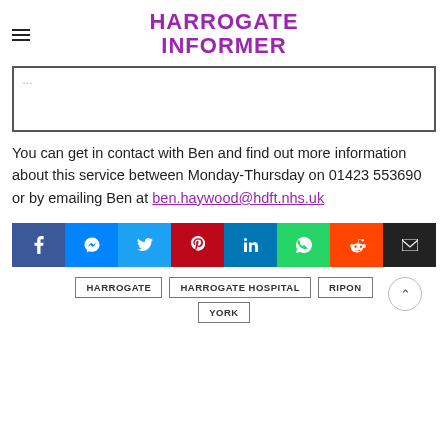HARROGATE INFORMER
[Figure (other): Bordered box area with partial text visible at top]
You can get in contact with Ben and find out more information about this service between Monday-Thursday on 01423 553690 or by emailing Ben at ben.haywood@hdft.nhs.uk
[Figure (infographic): Social sharing buttons: Facebook, Messenger, Twitter, Pinterest, LinkedIn, WhatsApp, Reddit, Email]
HARROGATE
HARROGATE HOSPITAL
RIPON
YORK